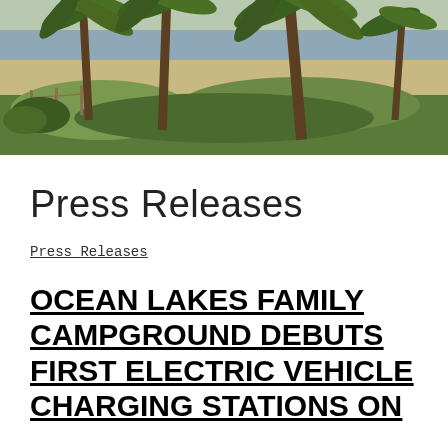[Figure (photo): Outdoor scene with palm trees, beach vegetation, sand dunes, and ocean in the background under an overcast sky.]
Press Releases
Press Releases
OCEAN LAKES FAMILY CAMPGROUND DEBUTS FIRST ELECTRIC VEHICLE CHARGING STATIONS ON